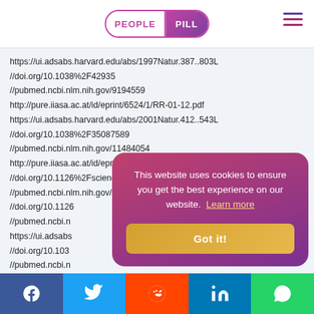PEOPLE PILL
https://ui.adsabs.harvard.edu/abs/1997Natur.387..803L
//doi.org/10.1038%2F42935
//pubmed.ncbi.nlm.nih.gov/9194559
http://pure.iiasa.ac.at/id/eprint/6524/1/RR-01-12.pdf
https://ui.adsabs.harvard.edu/abs/2001Natur.412..543L
//doi.org/10.1038%2F35087589
//pubmed.ncbi.nlm.nih.gov/11484054
http://pure.iiasa.ac.at/id/eprint/7085/1/RR-03-006.pdf
//doi.org/10.1126%2Fscience.1080316
//pubmed.ncbi.nlm.nih.gov/12663901
//doi.org/10.1126…
//pubmed.ncbi.n…
https://ui.adsabs…
//doi.org/10.103…
//pubmed.ncbi.n…
//doi.org/10.1126…
//pubmed.ncbi.n…
This website uses cookies to ensure you get the best experience on our website. Learn more
Got it!
Facebook Twitter Reddit LinkedIn WhatsApp